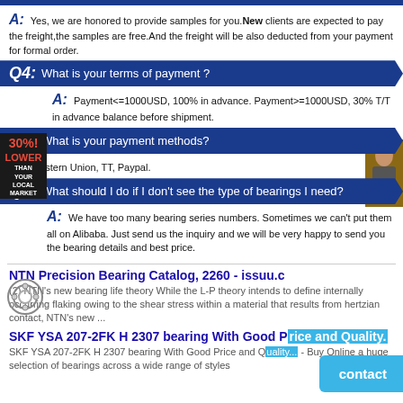A: Yes, we are honored to provide samples for you. New clients are expected to pay the freight,the samples are free.And the freight will be also deducted from your payment for formal order.
Q4: What is your terms of payment ?
A: Payment<=1000USD, 100% in advance. Payment>=1000USD, 30% T/T in advance balance before shipment.
Q5: What is your payment methods?
A: Western Union, TT, Paypal.
Q6: What should I do if I don't see the type of bearings I need?
A: We have too many bearing series numbers. Sometimes we can't put them all on Alibaba. Just send us the inquiry and we will be very happy to send you the bearing details and best price.
NTN Precision Bearing Catalog, 2260 - issuu.c
(2) NTN's new bearing life theory While the L-P theory intends to define internally occurring flaking owing to the shear stress within a material that results from hertzian contact, NTN's new ...
SKF YSA 207-2FK H 2307 bearing With Good Price and Quality.
SKF YSA 207-2FK H 2307 bearing With Good Price and Quality... - Buy Online a huge selection of bearings across a wide range of styles